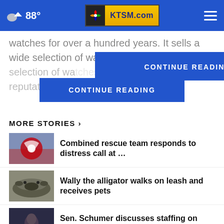88° KTSM.com
watches for over a hundred years. It sells a wide selection of wa... en with a reputation for ... s at an array
CONTINUE READING
MORE STORIES ›
Combined rescue team responds to distress call at ...
Wally the alligator walks on leash and receives pets
Sen. Schumer discusses staffing on student loan providers